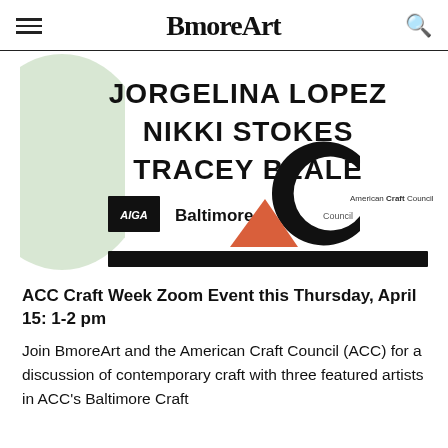BmoreArt
[Figure (illustration): Event promotional image showing names JORGELINA LOPEZ, NIKKI STOKES, TRACEY BEALE in bold black text, with a light green semi-circle shape on the left, AIGA Baltimore logo, American Craft Council logo with a large black C shape, a red/coral triangle shape, and a black horizontal bar at the bottom.]
ACC Craft Week Zoom Event this Thursday, April 15: 1-2 pm
Join BmoreArt and the American Craft Council (ACC) for a discussion of contemporary craft with three featured artists in ACC's Baltimore Craft